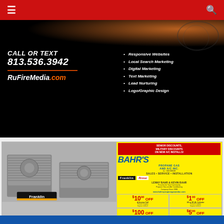Navigation bar with menu and search icons
[Figure (advertisement): RuFireMedia.com advertisement - Call or Text 813.536.3942, Responsive Websites, Local Search Marketing, Digital Marketing, Text Marketing, Lead Nurturing, Logo/Graphic Design]
[Figure (advertisement): Bahr's Propane Gas and A/C Inc. advertisement - Franklin and Rinnai brands, Lenny Bahr & Kevin Bahr, Sales/Service/Installation, coupons including $10 off service call, $1 off cylinder, $100 off A/C install, $5 off maintenance check, Free Extended Labor Warranties. Phone: 813-782-5013, 352-567-7678, 813-782-5013]